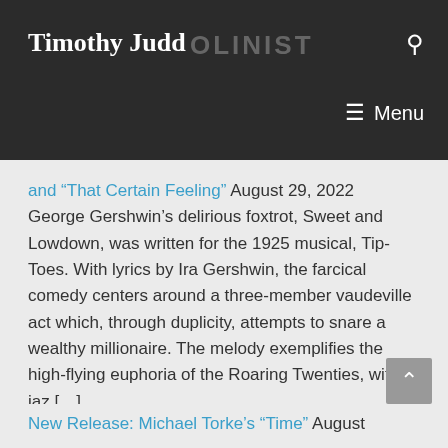Timothy Judd VIOLINIST
and “That Certain Feeling” August 29, 2022 George Gershwin’s delirious foxtrot, Sweet and Lowdown, was written for the 1925 musical, Tip-Toes. With lyrics by Ira Gershwin, the farcical comedy centers around a three-member vaudeville act which, through duplicity, attempts to snare a wealthy millionaire. The melody exemplifies the high-flying euphoria of the Roaring Twenties, with jaz [...]
New Release: Michael Torke’s “Time” August